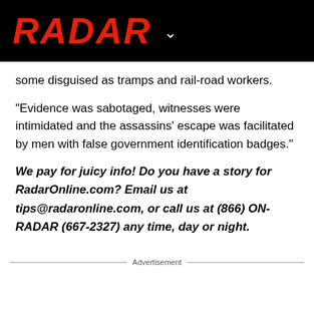RADAR
some disguised as tramps and rail-road workers.
"Evidence was sabotaged, witnesses were intimidated and the assassins' escape was facilitated by men with false government identification badges."
We pay for juicy info! Do you have a story for RadarOnline.com? Email us at tips@radaronline.com, or call us at (866) ON-RADAR (667-2327) any time, day or night.
Advertisement